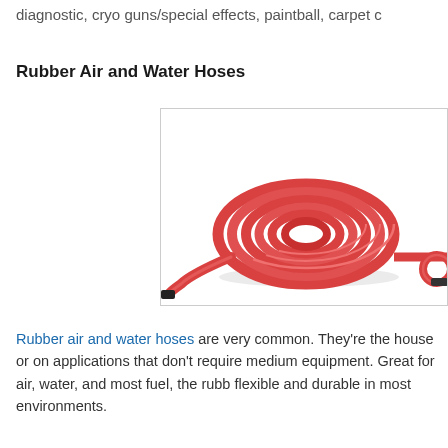diagnostic, cryo guns/special effects, paintball, carpet c
Rubber Air and Water Hoses
[Figure (photo): A coiled red rubber air/water hose with a small loop end visible, on a white background inside a bordered box.]
Rubber air and water hoses are very common. They're the house or on applications that don't require medium equipment. Great for air, water, and most fuel, the rubb flexible and durable in most environments.